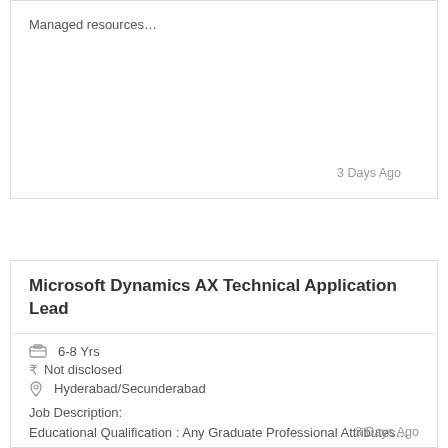Managed resources…
3 Days Ago
Microsoft Dynamics AX Technical Application Lead
6-8 Yrs
₹ Not disclosed
Hyderabad/Secunderabad
Job Description:
Educational Qualification : Any Graduate Professional Attributes…
3 Days Ago